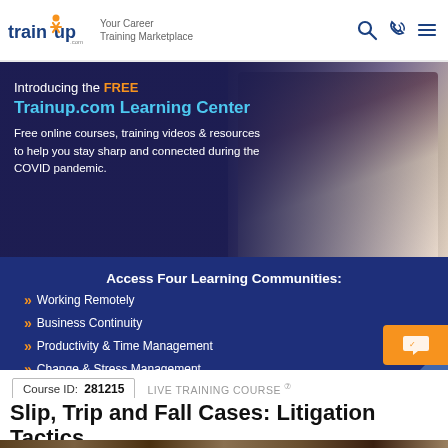[Figure (logo): TrainUp.com logo with orange figure and text, tagline: Your Career Training Marketplace]
[Figure (screenshot): Banner with woman using laptop, overlay text introducing the FREE Trainup.com Learning Center]
Introducing the FREE
Trainup.com Learning Center
Free online courses, training videos & resources to help you stay sharp and connected during the COVID pandemic.
Access Four Learning Communities:
Working Remotely
Business Continuity
Productivity & Time Management
Change & Stress Management
Course ID: 281215   LIVE TRAINING COURSE ⓘ
Slip, Trip and Fall Cases: Litigation Tactics